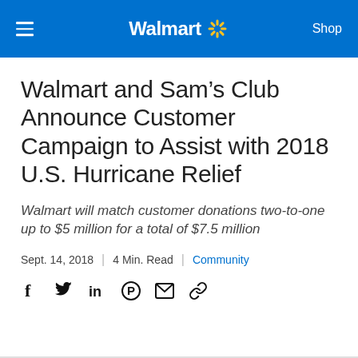Walmart | Shop
Walmart and Sam’s Club Announce Customer Campaign to Assist with 2018 U.S. Hurricane Relief
Walmart will match customer donations two-to-one up to $5 million for a total of $7.5 million
Sept. 14, 2018 | 4 Min. Read | Community
[Figure (other): Social share icons: Facebook, Twitter, LinkedIn, Pinterest, Email, Link]